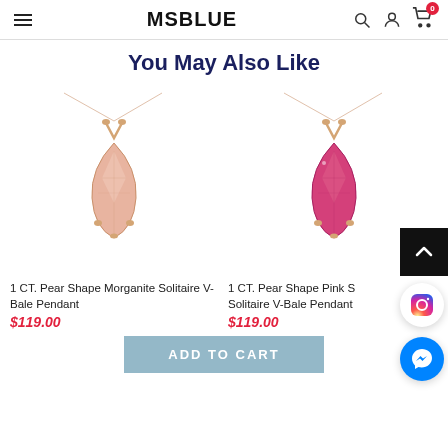MSBLUE
You May Also Like
[Figure (photo): 1 CT. Pear Shape Morganite Solitaire V-Bale Pendant on rose gold chain]
1 CT. Pear Shape Morganite Solitaire V-Bale Pendant
$119.00
[Figure (photo): 1 CT. Pear Shape Pink Sapphire Solitaire V-Bale Pendant on rose gold chain]
1 CT. Pear Shape Pink S Solitaire V-Bale Pendant
$119.00
ADD TO CART